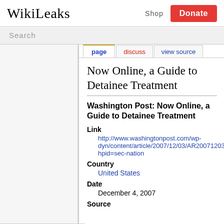WikiLeaks  Shop  Donate
Search
Now Online, a Guide to Detainee Treatment
Washington Post: Now Online, a Guide to Detainee Treatment
Link
http://www.washingtonpost.com/wp-dyn/content/article/2007/12/03/AR2007120300... hpid=sec-nation
Country
United States
Date
December 4, 2007
Source
Main Page
Country index
Follow us